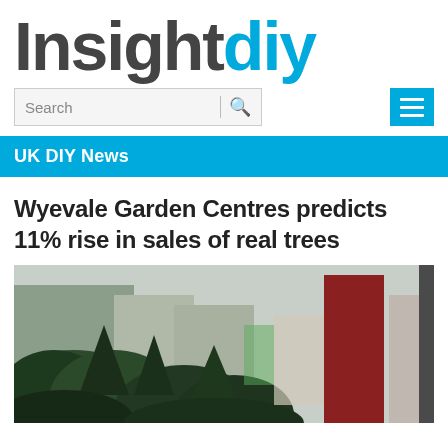[Figure (logo): InsightDIY logo with 'Insight' in dark grey and 'diy' in blue, large bold font]
[Figure (screenshot): Search bar with placeholder text 'Search', a vertical divider, and a blue magnifying glass icon; next to it a blue hamburger menu button with three white horizontal lines]
UK DIY News
Wyevale Garden Centres predicts 11% rise in sales of real trees
[Figure (photo): Photograph of real Christmas trees displayed outdoors at a garden centre, with red wooden structures visible in the background]